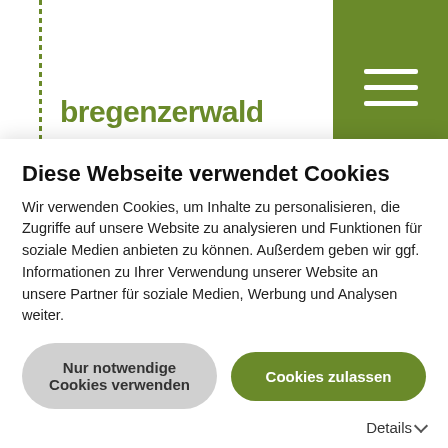bregenzerwald
Grooming: December to the end of March Dogs are not allowed, on the winter hiking trails parallel to the CC trails dogs must be on leash as well as in the village centre.
Trail fees: upon request
Cross-country skiing lessons:
Skieschule Hittisau-Sibratsgfäll ski school, M: +43 (0)
Diese Webseite verwendet Cookies
Wir verwenden Cookies, um Inhalte zu personalisieren, die Zugriffe auf unsere Website zu analysieren und Funktionen für soziale Medien anbieten zu können. Außerdem geben wir ggf. Informationen zu Ihrer Verwendung unserer Website an unsere Partner für soziale Medien, Werbung und Analysen weiter.
Nur notwendige Cookies verwenden
Cookies zulassen
Details